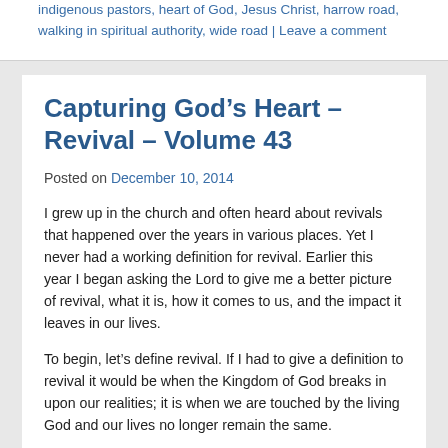indigenous pastors, heart of God, Jesus Christ, harrow road, walking in spiritual authority, wide road | Leave a comment
Capturing God’s Heart – Revival – Volume 43
Posted on December 10, 2014
I grew up in the church and often heard about revivals that happened over the years in various places. Yet I never had a working definition for revival. Earlier this year I began asking the Lord to give me a better picture of revival, what it is, how it comes to us, and the impact it leaves in our lives.
To begin, let’s define revival. If I had to give a definition to revival it would be when the Kingdom of God breaks in upon our realities; it is when we are touched by the living God and our lives no longer remain the same.